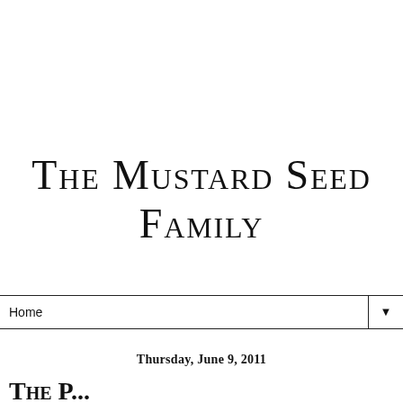The Mustard Seed Family
Home
Thursday, June 9, 2011
The P...